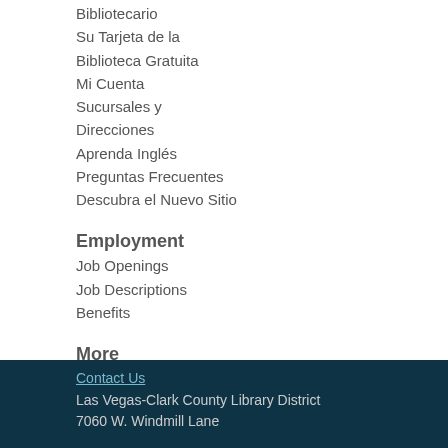Bibliotecario
Su Tarjeta de la Biblioteca Gratuita
Mi Cuenta
Sucursales y Direcciones
Aprenda Inglés
Preguntas Frecuentes
Descubra el Nuevo Sitio
Employment
Job Openings
Job Descriptions
Benefits
More
Classic Catalog
Contact Us
Las Vegas-Clark County Library District
7060 W. Windmill Lane